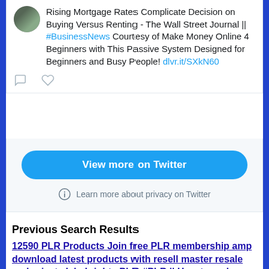Rising Mortgage Rates Complicate Decision on Buying Versus Renting - The Wall Street Journal || #BusinessNews Courtesy of Make Money Online 4 Beginners with This Passive System Designed for Beginners and Busy People! dlvr.it/SXkN60
[Figure (screenshot): View more on Twitter button and Learn more about privacy on Twitter link in a light blue Twitter embed widget]
Previous Search Results
12590 PLR Products Join free PLR membership amp download latest products with resell master resale and private label rights PLR #PLR || How to and Systems to Make Money